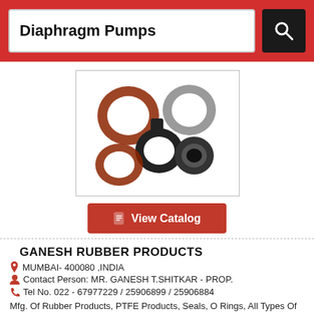Diaphragm Pumps
[Figure (photo): Collection of rubber O-rings, seals and gaskets of various sizes and colors (brown, black, grey) on a white background]
View Catalog
GANESH RUBBER PRODUCTS
MUMBAI- 400080 ,INDIA
Contact Person: MR. GANESH T.SHITKAR - PROP.
Tel No. 022 - 67977229 / 25906899 / 25906884
Mfg. Of Rubber Products, PTFE Products, Seals, O Rings, All Types Of Gaskets, Valves And Pump Diaphragms, Float Seals, Body Anti Vibration Mountings, All Types Of Bell ...